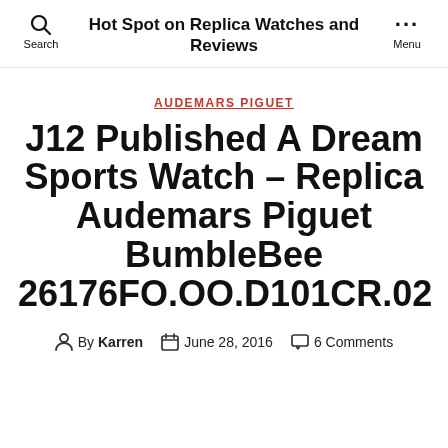Hot Spot on Replica Watches and Reviews
AUDEMARS PIGUET
J12 Published A Dream Sports Watch – Replica Audemars Piguet BumbleBee 26176FO.OO.D101CR.02
By Karren  June 28, 2016  6 Comments